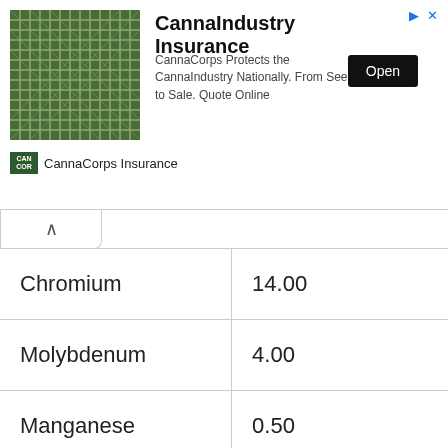[Figure (other): CannaIndustry Insurance advertisement banner by CannaCorps Insurance. Shows a cannabis plant grid image, bold title 'CannaIndustry Insurance', body text 'CannaCorps Protects the CannaIndustry Nationally. From Seed to Sale. Quote Online', an Open button, and CannaCorps Insurance logo.]
| Chromium | 14.00 |
| Molybdenum | 4.00 |
| Manganese | 0.50 |
| Silicon | 0.30 |